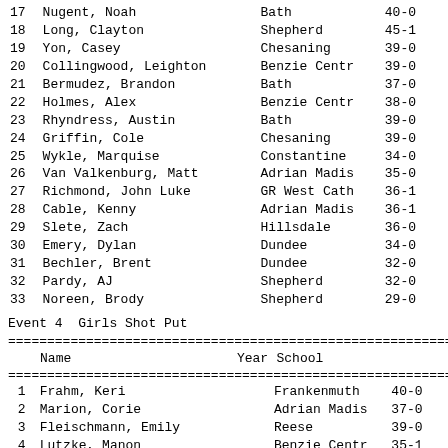| # | Name | School | Mark |
| --- | --- | --- | --- |
| 17 | Nugent, Noah | Bath | 40-0 |
| 18 | Long, Clayton | Shepherd | 45-1 |
| 19 | Yon, Casey | Chesaning | 39-0 |
| 20 | Collingwood, Leighton | Benzie Centr | 39-0 |
| 21 | Bermudez, Brandon | Bath | 37-0 |
| 22 | Holmes, Alex | Benzie Centr | 38-0 |
| 23 | Rhyndress, Austin | Bath | 39-0 |
| 24 | Griffin, Cole | Chesaning | 39-0 |
| 25 | Wykle, Marquise | Constantine | 34-0 |
| 26 | Van Valkenburg, Matt | Adrian Madis | 35-0 |
| 27 | Richmond, John Luke | GR West Cath | 36-1 |
| 28 | Cable, Kenny | Adrian Madis | 36-1 |
| 29 | Slete, Zach | Hillsdale | 36-0 |
| 30 | Emery, Dylan | Dundee | 34-0 |
| 31 | Bechler, Brent | Dundee | 32-0 |
| 32 | Pardy, AJ | Shepherd | 32-0 |
| 33 | Noreen, Brody | Shepherd | 29-0 |
Event 4  Girls Shot Put
| # | Name | Year | School | Mark |
| --- | --- | --- | --- | --- |
| 1 | Frahm, Keri |  | Frankenmuth | 40-0 |
| 2 | Marion, Corie |  | Adrian Madis | 37-0 |
| 3 | Fleischmann, Emily |  | Reese | 39-0 |
| 4 | Lutzke, Manon |  | Benzie Centr | 35-1 |
| 5 | Erbskorn, Hannah |  | Bath | 33-0 |
| 6 | Ostrander, Taryn |  | Ithaca | 32-0 |
| 7 | Straus, Holly |  | Shepherd | 35-0 |
| 8 | Morin, Marianna |  | Adrian Madis | 33-0 |